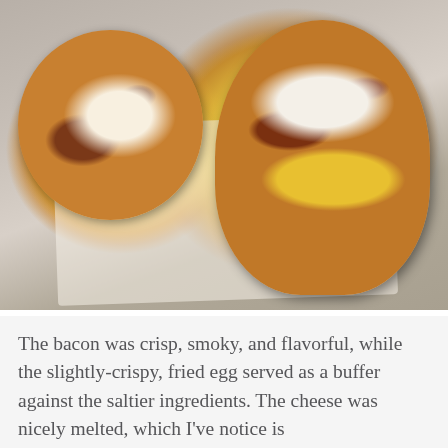[Figure (photo): Two bacon, egg, and cheese breakfast sandwiches on croissant buns, split open on parchment paper. The bun tops show toasted, flaky layers with visible bacon and melted cheese. One sandwich on the left shows the inside with a fried egg and bacon. The right sandwich shows the top bun with melted cheese, bacon pieces, and a bright yellow egg visible on the side.]
The bacon was crisp, smoky, and flavorful, while the slightly-crispy, fried egg served as a buffer against the saltier ingredients. The cheese was nicely melted, which I've notice is